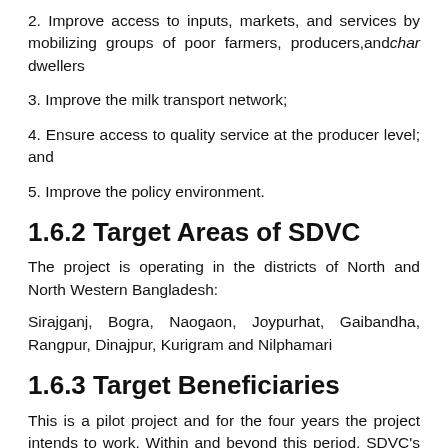2. Improve access to inputs, markets, and services by mobilizing groups of poor farmers, producers,and char dwellers
3. Improve the milk transport network;
4. Ensure access to quality service at the producer level; and
5. Improve the policy environment.
1.6.2 Target Areas of SDVC
The project is operating in the districts of North and North Western Bangladesh:
Sirajganj, Bogra, Naogaon, Joypurhat, Gaibandha, Rangpur, Dinajpur, Kurigram and Nilphamari
1.6.3 Target Beneficiaries
This is a pilot project and for the four years the project intends to work. Within and beyond this period, SDVC's target beneficiaries will include milk-producing landless